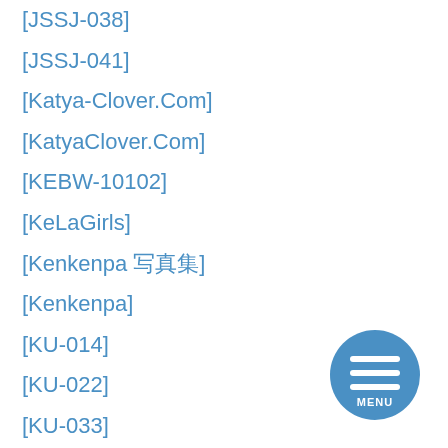[JSSJ-038]
[JSSJ-041]
[Katya-Clover.Com]
[KatyaClover.Com]
[KEBW-10102]
[KeLaGirls]
[Kenkenpa 写真集]
[Kenkenpa]
[KU-014]
[KU-022]
[KU-033]
[KU-047]
[LCDV-40275]
[Figure (other): Circular blue menu button with three horizontal white lines and MENU text]